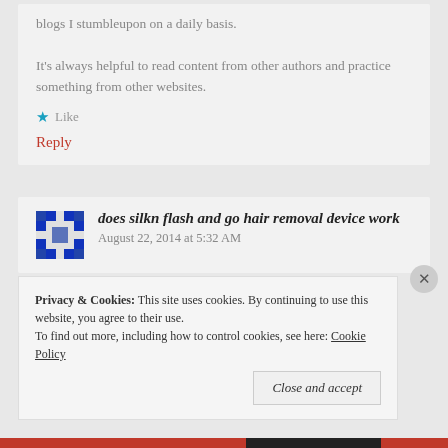blogs I stumbleupon on a daily basis.
It's always helpful to read content from other authors and practice something from other websites.
Like
Reply
does silkn flash and go hair removal device work   August 22, 2014 at 5:32 AM
Privacy & Cookies: This site uses cookies. By continuing to use this website, you agree to their use. To find out more, including how to control cookies, see here: Cookie Policy
Close and accept